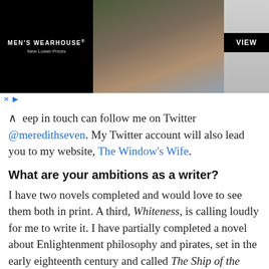[Figure (photo): Men's Wearhouse advertisement banner showing a couple in formal wear and a man in a grey suit, with a black 'VIEW' button. Black background with white logo text 'MEN'S WEARHOUSE® New Lower Prices'.]
keep in touch can follow me on Twitter @meredithseven. My Twitter account will also lead you to my website, The Window's Wife.
What are your ambitions as a writer?
I have two novels completed and would love to see them both in print. A third, Whiteness, is calling loudly for me to write it. I have partially completed a novel about Enlightenment philosophy and pirates, set in the early eighteenth century and called The Ship of the New Philosophy. I would love to find someone who isn't frightened by my unholy mix of literary and